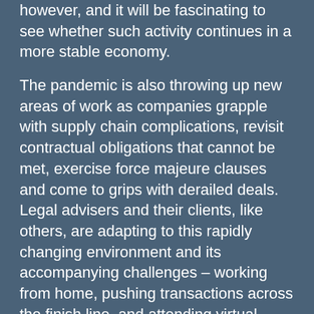however, and it will be fascinating to see whether such activity continues in a more stable economy.
The pandemic is also throwing up new areas of work as companies grapple with supply chain complications, revisit contractual obligations that cannot be met, exercise force majeure clauses and come to grips with derailed deals. Legal advisers and their clients, like others, are adapting to this rapidly changing environment and its accompanying challenges – working from home, pushing transactions across the finish line, and attending virtual court hearings.
India's central government has announced a series of relaxations and stimulus packages to help vulnerable sections of the population and ease